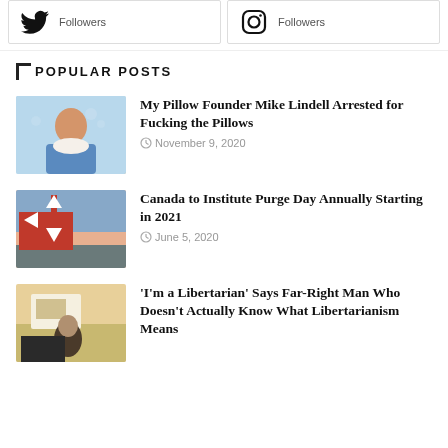[Figure (other): Twitter and Instagram social media follower boxes at the top of the page]
POPULAR POSTS
[Figure (photo): Photo of Mike Lindell (My Pillow founder) smiling and holding a pillow, blue background]
My Pillow Founder Mike Lindell Arrested for Fucking the Pillows
November 9, 2020
[Figure (photo): Photo of a Canadian flag waving against a sky background with city silhouette]
Canada to Institute Purge Day Annually Starting in 2021
June 5, 2020
[Figure (photo): Photo of a man in a dark shirt standing indoors near a framed picture on a yellow wall]
'I'm a Libertarian' Says Far-Right Man Who Doesn't Actually Know What Libertarianism Means